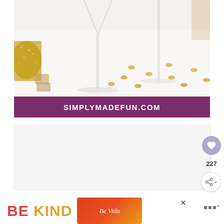[Figure (photo): Flat lay photo of champagne glasses, gold glitter decoration, and scattered gold coin confetti on a white surface]
SIMPLYMADEFUN.COM
[Figure (screenshot): White content area with social sharing UI: heart/save button, count 227, and share icon on the right side]
[Figure (photo): Advertisement banner at bottom showing BE KIND text in red and orange with decorative floral image and close button]